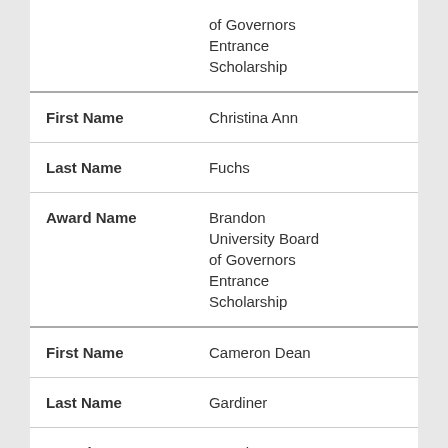| Field | Value |
| --- | --- |
|  | of Governors Entrance Scholarship |
| First Name | Christina Ann |
| Last Name | Fuchs |
| Award Name | Brandon University Board of Governors Entrance Scholarship |
| First Name | Cameron Dean |
| Last Name | Gardiner |
| Award Name | Brandon University Board of Governors |